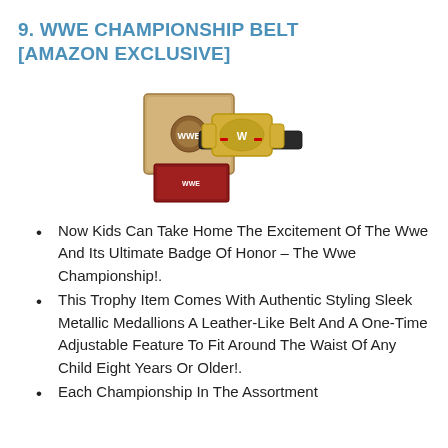9. WWE CHAMPIONSHIP BELT [AMAZON EXCLUSIVE]
[Figure (photo): Product photo of WWE Championship Belt in box packaging, showing the belt and box from an angle]
Now Kids Can Take Home The Excitement Of The Wwe And Its Ultimate Badge Of Honor – The Wwe Championship!.
This Trophy Item Comes With Authentic Styling Sleek Metallic Medallions A Leather-Like Belt And A One-Time Adjustable Feature To Fit Around The Waist Of Any Child Eight Years Or Older!.
Each Championship In The Assortment